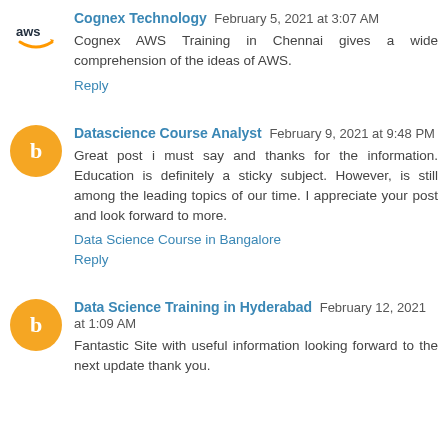[Figure (logo): AWS logo with orange smile]
Cognex Technology February 5, 2021 at 3:07 AM
Cognex AWS Training in Chennai gives a wide comprehension of the ideas of AWS.
Reply
[Figure (logo): Blogger orange circle avatar with B icon]
Datascience Course Analyst February 9, 2021 at 9:48 PM
Great post i must say and thanks for the information. Education is definitely a sticky subject. However, is still among the leading topics of our time. I appreciate your post and look forward to more.
Data Science Course in Bangalore
Reply
[Figure (logo): Blogger orange circle avatar with B icon]
Data Science Training in Hyderabad February 12, 2021 at 1:09 AM
Fantastic Site with useful information looking forward to the next update thank you.